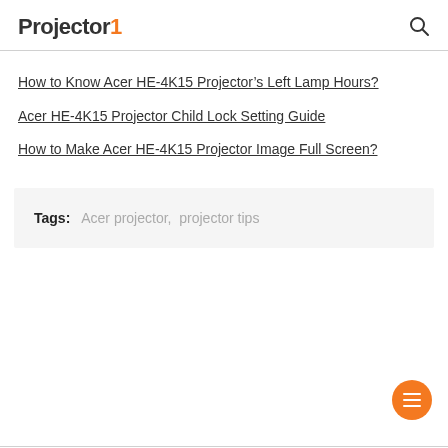Projector1
How to Know Acer HE-4K15 Projector’s Left Lamp Hours?
Acer HE-4K15 Projector Child Lock Setting Guide
How to Make Acer HE-4K15 Projector Image Full Screen?
Tags: Acer projector, projector tips